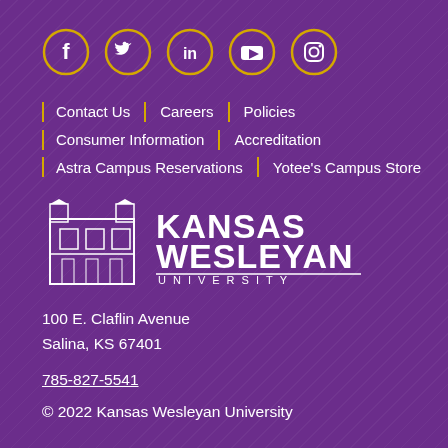[Figure (logo): Row of 5 social media icons in gold circles: Facebook, Twitter, LinkedIn, YouTube, Instagram]
Contact Us | Careers | Policies
Consumer Information | Accreditation
Astra Campus Reservations | Yotee's Campus Store
[Figure (logo): Kansas Wesleyan University logo - white building illustration with KANSAS WESLEYAN UNIVERSITY text]
100 E. Claflin Avenue
Salina, KS 67401
785-827-5541
© 2022 Kansas Wesleyan University